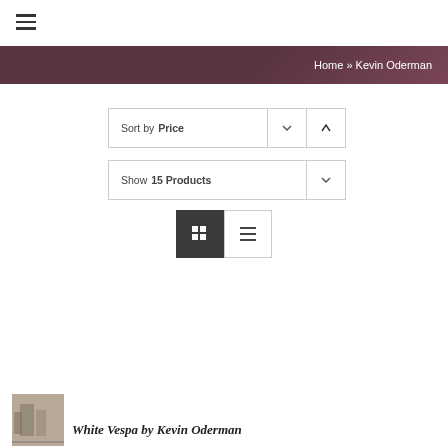[Figure (other): Hamburger menu icon (three horizontal lines)]
Home » Kevin Oderman
Sort by Price
Show 15 Products
[Figure (other): Grid view and list view toggle buttons]
[Figure (photo): Thumbnail photo of White Vespa book cover, sepia toned image]
White Vespa by Kevin Oderman